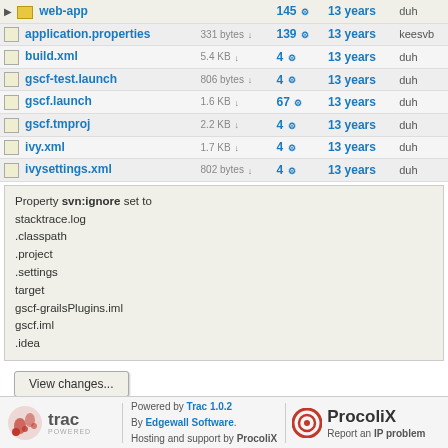| Name | Size | Rev | Age | Author | Last Change |
| --- | --- | --- | --- | --- | --- |
| web-app |  | 145 | 13 years | duh | - wizard |
| application.properties | 331 bytes | 139 | 13 years | keesvb | change |
| build.xml | 5.4 KB | 4 | 13 years | duh | Initial c |
| gscf-test.launch | 806 bytes | 4 | 13 years | duh | Initial c |
| gscf.launch | 1.6 KB | 67 | 13 years | duh | - updat |
| gscf.tmproj | 2.2 KB | 4 | 13 years | duh | Initial c |
| ivy.xml | 1.7 KB | 4 | 13 years | duh | Initial c |
| ivysettings.xml | 802 bytes | 4 | 13 years | duh | Initial c |
Property svn:ignore set to
stacktrace.log
.classpath
.project
.settings
target
gscf-grailsPlugins.iml
gscf.iml
.idea
View changes...
Note: See TracBrowser for help on using the repository browser.
Download in other formats: Zip Archive
Powered by Trac 1.0.2 By Edgewall Software. Hosting and support by ProcoliX | Report an IP problem